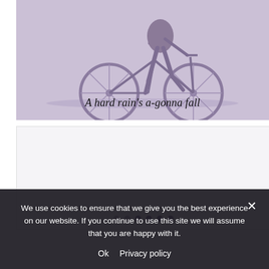[Figure (photo): Faded purple-tinted photograph of a person riding a bicycle, cropped to show the lower body and bicycle wheels against a light background. Italic text overlay at the bottom reads: A hard rain's a-gonna fall]
[Figure (photo): A second image panel below, light lavender/white background, partially visible with navigation dots at the bottom]
We use cookies to ensure that we give you the best experience on our website. If you continue to use this site we will assume that you are happy with it.
Ok   Privacy policy